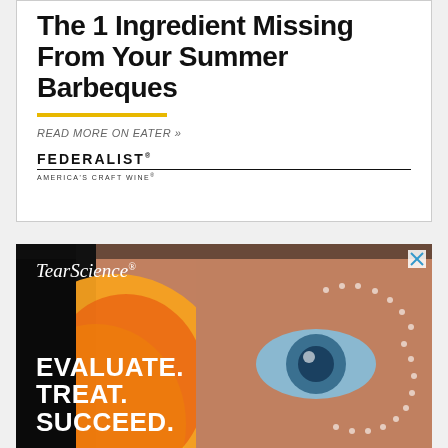[Figure (illustration): Advertisement for Federalist wine with large bold text reading 'The 1 Ingredient Missing From Your Summer Barbeques', a yellow horizontal rule, italic text 'READ MORE ON EATER »', and the Federalist America's Craft Wine logo. White background with border.]
[Figure (photo): TearScience advertisement showing a close-up of a human eye/face with orange/yellow flame-like gradient on the left side and a dotted circle arc on the right. White text overlaid reads 'TearScience®' at top and 'EVALUATE. TREAT. SUCCEED.' in large bold white text.]